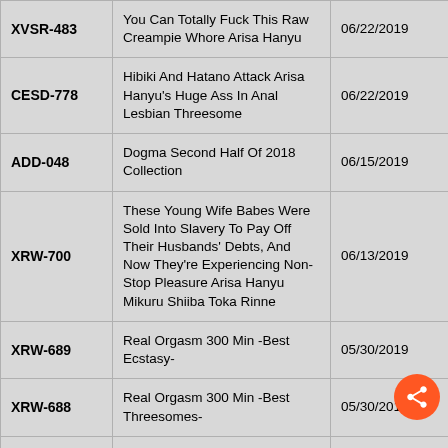| Code | Title | Date |
| --- | --- | --- |
| XVSR-483 | You Can Totally Fuck This Raw Creampie Whore Arisa Hanyu | 06/22/2019 |
| CESD-778 | Hibiki And Hatano Attack Arisa Hanyu's Huge Ass In Anal Lesbian Threesome | 06/22/2019 |
| ADD-048 | Dogma Second Half Of 2018 Collection | 06/15/2019 |
| XRW-700 | These Young Wife Babes Were Sold Into Slavery To Pay Off Their Husbands' Debts, And Now They're Experiencing Non-Stop Pleasure Arisa Hanyu Mikuru Shiiba Toka Rinne | 06/13/2019 |
| XRW-689 | Real Orgasm 300 Min -Best Ecstasy- | 05/30/2019 |
| XRW-688 | Real Orgasm 300 Min -Best Threesomes- | 05/30/2019 |
| XRW-687 | Sluts -Married Women Who Will Sleep With Anyone- Arisa Hanyu, Maina Yuri, Kanna Misaki | 05/30/2019 |
| SDDE-584 | Go Mom And Dad! Lotion-Slick Friendly Family Fucking Competition! 2 | 05/22/2019 |
|  | A Horny Colossal Tits Wife Who Loves Cock |  |